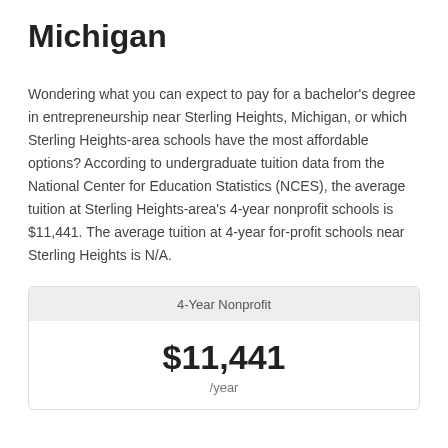Michigan
Wondering what you can expect to pay for a bachelor's degree in entrepreneurship near Sterling Heights, Michigan, or which Sterling Heights-area schools have the most affordable options? According to undergraduate tuition data from the National Center for Education Statistics (NCES), the average tuition at Sterling Heights-area's 4-year nonprofit schools is $11,441. The average tuition at 4-year for-profit schools near Sterling Heights is N/A.
| 4-Year Nonprofit |
| --- |
| $11,441 /year |